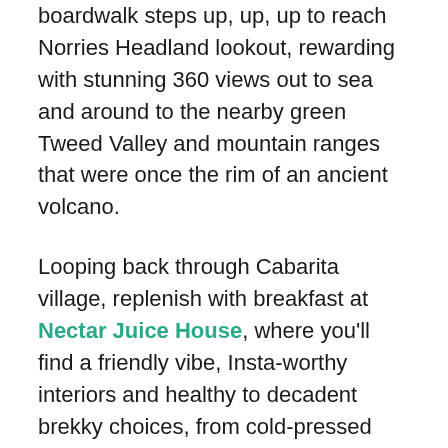boardwalk steps up, up, up to reach Norries Headland lookout, rewarding with stunning 360 views out to sea and around to the nearby green Tweed Valley and mountain ranges that were once the rim of an ancient volcano.
Looping back through Cabarita village, replenish with breakfast at Nectar Juice House, where you'll find a friendly vibe, Insta-worthy interiors and healthy to decadent brekky choices, from cold-pressed juices to locally-made organic sourdough crumpets with lemon curd.
Time to hit the surf! Cabarita Beach is an exposed point break, with reliable surf waves that are sought-after by avid surfers. Grab your boards and paddle out…